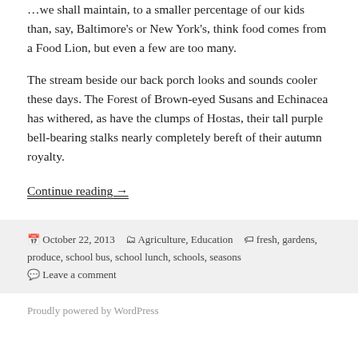our kids than, say, Baltimore's or New York's, think food comes from a Food Lion, but even a few are too many.
The stream beside our back porch looks and sounds cooler these days. The Forest of Brown-eyed Susans and Echinacea has withered, as have the clumps of Hostas, their tall purple bell-bearing stalks nearly completely bereft of their autumn royalty.
Continue reading →
October 22, 2013   Agriculture, Education   fresh, gardens, produce, school bus, school lunch, schools, seasons   Leave a comment
Proudly powered by WordPress